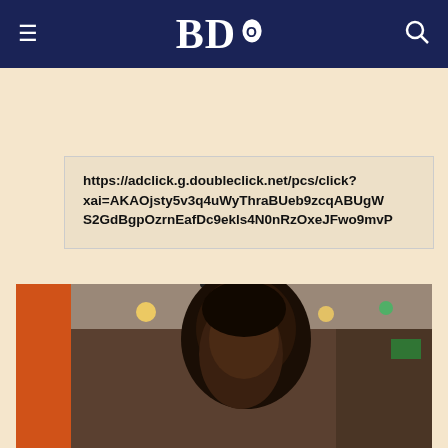BDO
https://adclick.g.doubleclick.net/pcs/click?xai=AKAOjsty5v3q4uWyThraBUeb9zcqABUgWS2GdBgpOzrnEafDc9ekls4N0nRzOxeJFwo9mvP
IN THE HEADLINES
[Figure (photo): A person photographed indoors, with ceiling lights visible in the background and an orange wall on the left side.]
We use cookies to improve your experience on our site and to show you relevant advertising. To find out more, read our updated Privacy Policy